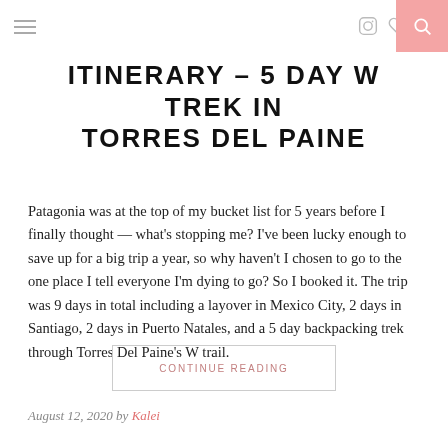☰  [icons] [search]
ITINERARY – 5 DAY W TREK IN TORRES DEL PAINE
Patagonia was at the top of my bucket list for 5 years before I finally thought — what's stopping me? I've been lucky enough to save up for a big trip a year, so why haven't I chosen to go to the one place I tell everyone I'm dying to go? So I booked it. The trip was 9 days in total including a layover in Mexico City, 2 days in Santiago, 2 days in Puerto Natales, and a 5 day backpacking trek through Torres Del Paine's W trail.
CONTINUE READING
August 12, 2020 by Kalei